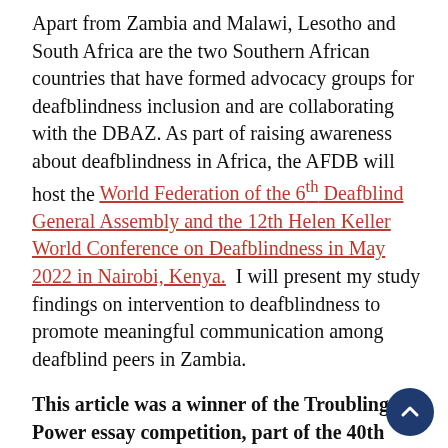Apart from Zambia and Malawi, Lesotho and South Africa are the two Southern African countries that have formed advocacy groups for deafblindness inclusion and are collaborating with the DBAZ. As part of raising awareness about deafblindness in Africa, the AFDB will host the World Federation of the 6th Deafblind General Assembly and the 12th Helen Keller World Conference on Deafblindness in May 2022 in Nairobi, Kenya.  I will present my study findings on intervention to deafblindness to promote meaningful communication among deafblind peers in Zambia.
This article was a winner of the Troubling Power essay competition, part of the 40th anniversary